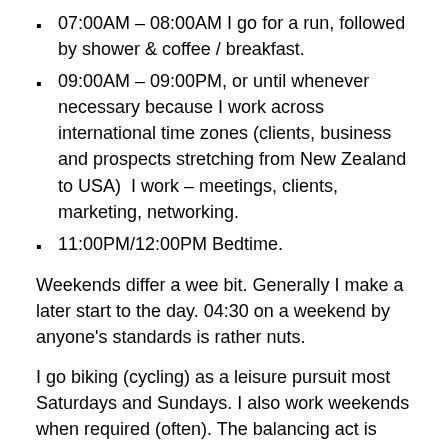07:00AM – 08:00AM I go for a run, followed by shower & coffee / breakfast.
09:00AM – 09:00PM, or until whenever necessary because I work across international time zones (clients, business and prospects stretching from New Zealand to USA)  I work – meetings, clients, marketing, networking.
11:00PM/12:00PM Bedtime.
Weekends differ a wee bit. Generally I make a later start to the day. 04:30 on a weekend by anyone's standards is rather nuts.
I go biking (cycling) as a leisure pursuit most Saturdays and Sundays. I also work weekends when required (often). The balancing act is when the weather is good I arrange my weekly diary so that I can get out cycling any